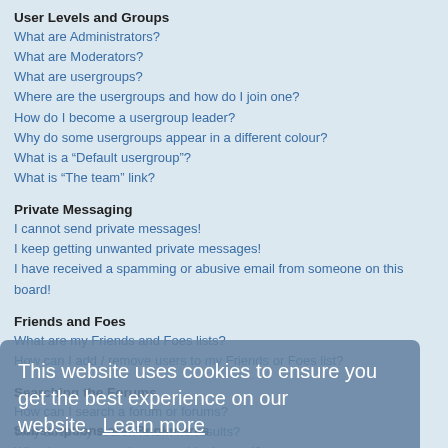User Levels and Groups
What are Administrators?
What are Moderators?
What are usergroups?
Where are the usergroups and how do I join one?
How do I become a usergroup leader?
Why do some usergroups appear in a different colour?
What is a “Default usergroup”?
What is “The team” link?
Private Messaging
I cannot send private messages!
I keep getting unwanted private messages!
I have received a spamming or abusive email from someone on this board!
Friends and Foes
What are my Friends and Foes lists?
How can I add / remove users to my Friends or Foes list?
Searching the Forums
How can I search a forum or forums?
Why does my search return no results?
Why does my search return a blank page!?
How do I search for members?
How can I find my own posts and topics?
Subscriptions and Bookmarks